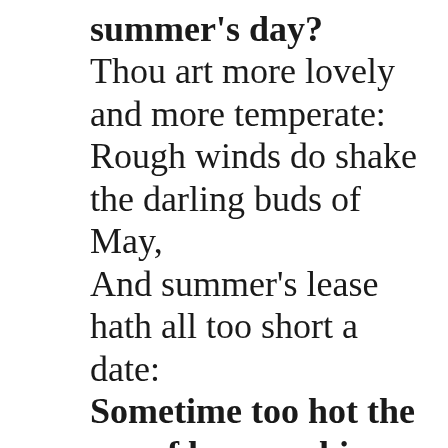summer's day? Thou art more lovely and more temperate: Rough winds do shake the darling buds of May, And summer's lease hath all too short a date: Sometime too hot the eye of heaven shines, And often is